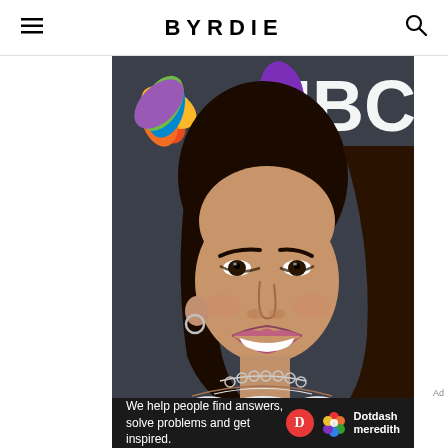BYRDIE
[Figure (photo): Close-up photo of a woman with long dark hair smiling, wearing a white tweed outfit and diamond necklaces, with NBC logo visible in the background]
Ad
[Figure (infographic): Dotdash Meredith advertisement banner with text: We help people find answers, solve problems and get inspired. Dotdash meredith logo.]